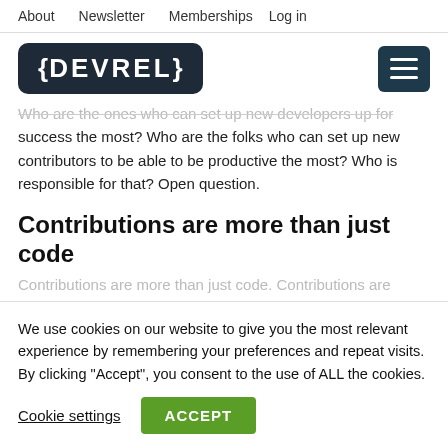About  Newsletter  Memberships  Log in
[Figure (logo): DEVREL logo in dark rounded rectangle with hamburger menu icon on the right]
Who are the ones who can set up new developers up for success the most? Who are the folks who can set up new contributors to be able to be productive the most? Who is responsible for that? Open question.
Contributions are more than just code
Contributions are more than just code. Contributions are
We use cookies on our website to give you the most relevant experience by remembering your preferences and repeat visits. By clicking “Accept”, you consent to the use of ALL the cookies.
Cookie settings  ACCEPT